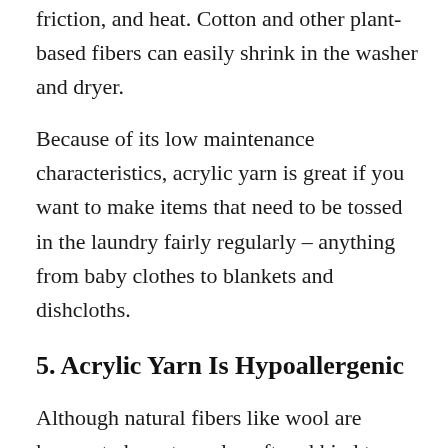friction, and heat. Cotton and other plant-based fibers can easily shrink in the washer and dryer.
Because of its low maintenance characteristics, acrylic yarn is great if you want to make items that need to be tossed in the laundry fairly regularly – anything from baby clothes to blankets and dishcloths.
5. Acrylic Yarn Is Hypoallergenic
Although natural fibers like wool are known to be extremely soft and kind to skin, some people can experience skin irritation and rashes when wearing (or working with) wool.
If you are one of those people with sensitive skin, acrylic yarn can be the answer. Since acrylics are synthetic, they do not contain the allergens that are present in wool.